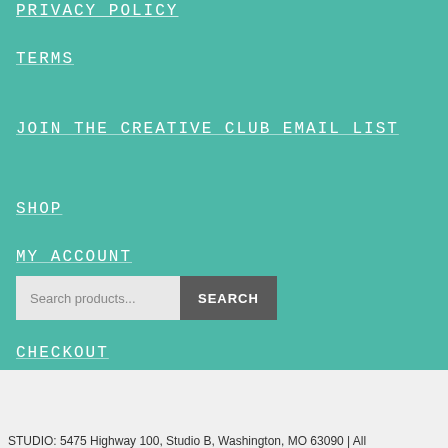PRIVACY POLICY
TERMS
JOIN THE CREATIVE CLUB EMAIL LIST
SHOP
MY ACCOUNT
CART
CHECKOUT
Search products...
STUDIO: 5475 Highway 100, Studio B, Washington, MO 63090 | All